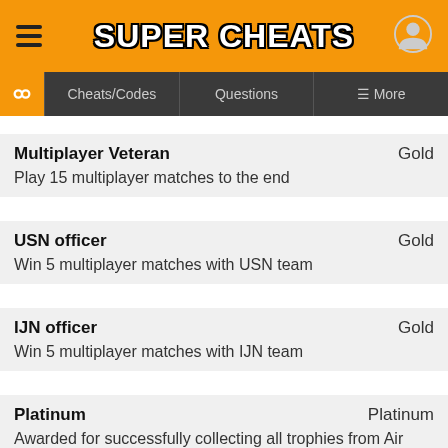SUPER CHEATS
Cheats/Codes | Questions | More
Multiplayer Veteran — Gold
Play 15 multiplayer matches to the end
USN officer — Gold
Win 5 multiplayer matches with USN team
IJN officer — Gold
Win 5 multiplayer matches with IJN team
Platinum — Platinum
Awarded for successfully collecting all trophies from Air Conflicts: Pacific Carriers